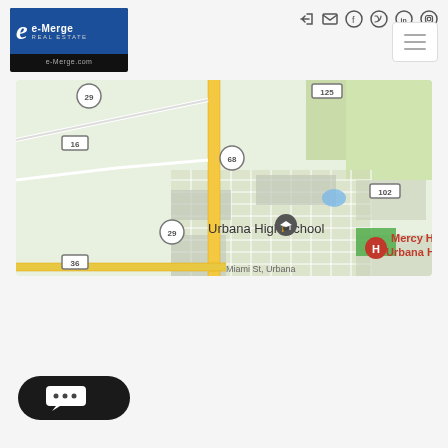[Figure (logo): e-Merge Real Estate logo, blue and black, with e-Merge.com text]
[Figure (map): Google Maps screenshot showing Urbana, Ohio area with Urbana High School, Mercy Health - Urbana Hospital, and route markers 29, 16, 68, 125, 102, 36]
[Figure (other): Dark pill-shaped chat button with three dots speech bubble icon]